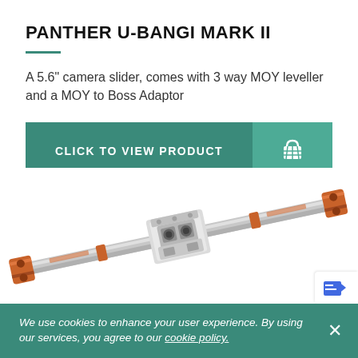PANTHER U-BANGI MARK II
A 5.6" camera slider, comes with 3 way MOY leveller and a MOY to Boss Adaptor
[Figure (other): Two buttons: 'CLICK TO VIEW PRODUCT' (teal/green) and a shopping cart icon button (lighter teal)]
[Figure (photo): Product photo of the Panther U-Bangi Mark II camera slider — a long rail with orange/copper end pieces and a silver/grey camera mounting carriage in the center, shown at a diagonal angle]
We use cookies to enhance your user experience. By using our services, you agree to our cookie policy.